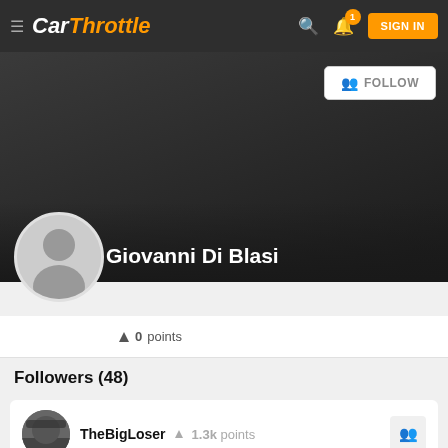CarThrottle — SIGN IN
[Figure (screenshot): CarThrottle profile page for Giovanni Di Blasi showing cover photo, avatar, 0 points, Followers (48) section with TheBigLoser showing 1.3k points]
Giovanni Di Blasi
▲ 0 points
Followers (48)
TheBigLoser ▲ 1.3k points